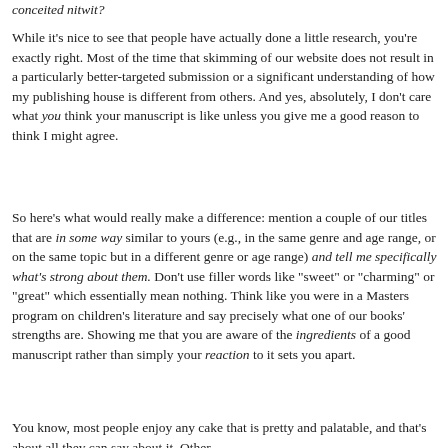conceited nitwit?
While it's nice to see that people have actually done a little research, you're exactly right. Most of the time that skimming of our website does not result in a particularly better-targeted submission or a significant understanding of how my publishing house is different from others. And yes, absolutely, I don't care what you think your manuscript is like unless you give me a good reason to think I might agree.
So here's what would really make a difference: mention a couple of our titles that are in some way similar to yours (e.g., in the same genre and age range, or on the same topic but in a different genre or age range) and tell me specifically what's strong about them. Don't use filler words like "sweet" or "charming" or "great" which essentially mean nothing. Think like you were in a Masters program on children's literature and say precisely what one of our books' strengths are. Showing me that you are aware of the ingredients of a good manuscript rather than simply your reaction to it sets you apart.
You know, most people enjoy any cake that is pretty and palatable, and that's about all they can say about it. Other